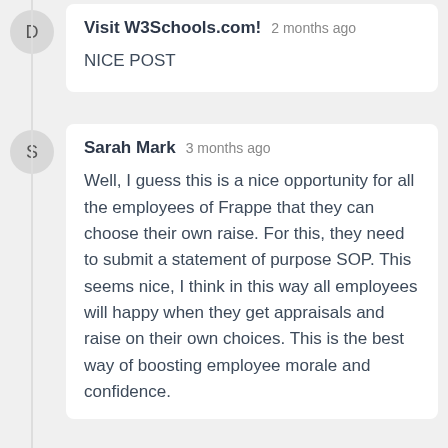D
Visit W3Schools.com!  2 months ago
NICE POST
S
Sarah Mark  3 months ago
Well, I guess this is a nice opportunity for all the employees of Frappe that they can choose their own raise. For this, they need to submit a statement of purpose SOP. This seems nice, I think in this way all employees will happy when they get appraisals and raise on their own choices. This is the best way of boosting employee morale and confidence.